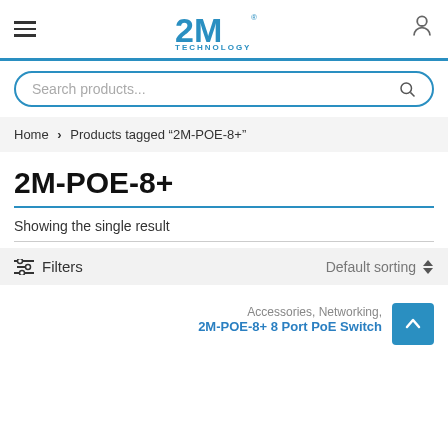2M Technology navigation bar with hamburger menu, logo, and user icon
Search products...
Home > Products tagged "2M-POE-8+"
2M-POE-8+
Showing the single result
Filters   Default sorting
Accessories, Networking,
2M-POE-8+ 8 Port PoE Switch